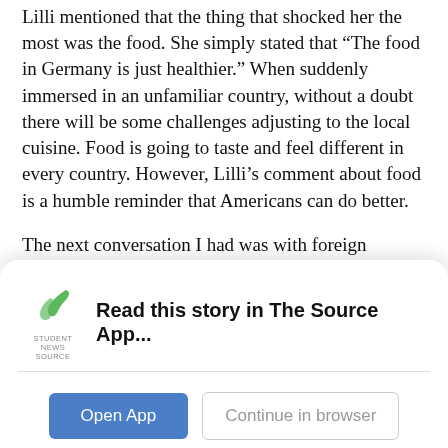Lilli mentioned that the thing that shocked her the most was the food. She simply stated that “The food in Germany is just healthier.” When suddenly immersed in an unfamiliar country, without a doubt there will be some challenges adjusting to the local cuisine. Food is going to taste and feel different in every country. However, Lilli’s comment about food is a humble reminder that Americans can do better.
The next conversation I had was with foreign exchange student, Takashi Tsukada. This nice
[Figure (screenshot): App download banner for Student News Source app showing logo, 'Read this story in The Source App...' text, Open App button, and Continue in browser button.]